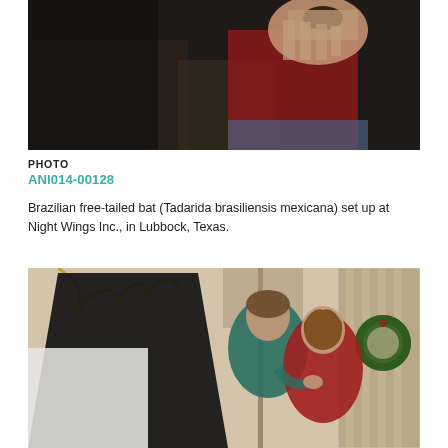[Figure (photo): Close-up photo of a person in a red shirt holding a small bat (Brazilian free-tailed bat) in their hand, with dark background and furniture visible.]
PHOTO
ANI014-00128
Brazilian free-tailed bat (Tadarida brasiliensis mexicana) set up at Night Wings Inc., in Lubbock, Texas.
[Figure (photo): Photo of two people — a man in a teal shirt and a woman in a red shirt — posing together indoors with photography lighting equipment visible, and a Christmas wreath on the door in the background.]